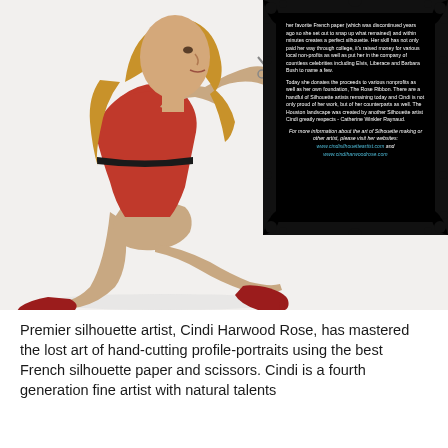[Figure (photo): Woman in red dress sitting on a white chair, holding scissors, cutting silhouette paper. She has long blonde hair. Scattered black paper scraps are on the floor beside her. An ornate black frame in the upper right contains text about silhouette art.]
her favorite French paper (which was discontinued years ago so she set out to snap up what remained) and within minutes creates a perfect silhouette. Her skill has not only paid her way through college, it's raised money for various local nonprofits as well as put her in the company of countless celebrities including Elvis, Liberace and Barbara Bush to name a few.

Today she donates the proceeds to various nonprofits as well as her own foundation, The Rose Ribbon. There are a handful of Silhouette artists remaining today and Cindi is not only proud of her work, but of her counterparts as well. The Houston landscape was created by another Silhouette artist Cindi greatly respects - Catherine Winkler Raynaud.

For more information about the art of Silhouette making or other artist, please visit her websites: www.cindisilhouetteartist.com and www.cindiharwoodrose.com
Premier silhouette artist, Cindi Harwood Rose, has mastered the lost art of hand-cutting profile-portraits using the best French silhouette paper and scissors. Cindi is a fourth generation fine artist with natural talents